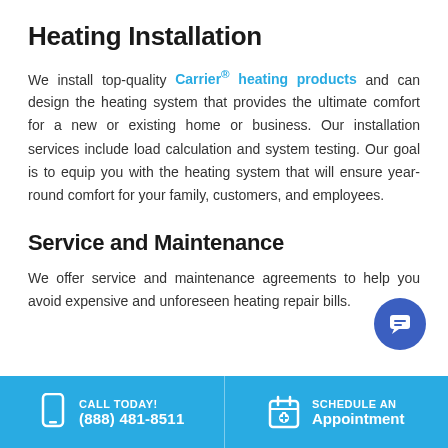Heating Installation
We install top-quality Carrier® heating products and can design the heating system that provides the ultimate comfort for a new or existing home or business. Our installation services include load calculation and system testing. Our goal is to equip you with the heating system that will ensure year-round comfort for your family, customers, and employees.
Service and Maintenance
We offer service and maintenance agreements to help you avoid expensive and unforeseen heating repair bills.
CALL TODAY! (888) 481-8511 | SCHEDULE AN Appointment